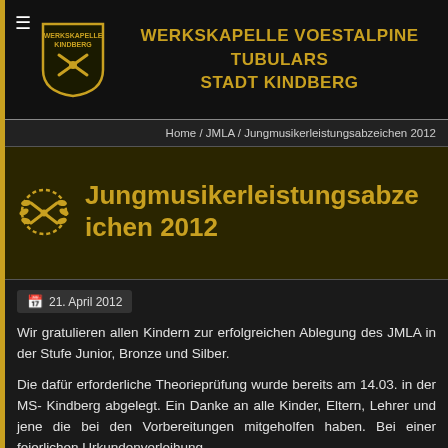WERKSKAPELLE VOESTALPINE TUBULARS STADT KINDBERG
Home / JMLA / Jungmusikerleistungsabzeichen 2012
Jungmusikerleistungsabzeichen 2012
21. April 2012
Wir gratulieren allen Kindern zur erfolgreichen Ablegung des JMLA in der Stufe Junior, Bronze und Silber.
Die dafür erforderliche Theorieprüfung wurde bereits am 14.03. in der MS- Kindberg abgelegt. Ein Danke an alle Kinder, Eltern, Lehrer und jene die bei den Vorbereitungen mitgeholfen haben. Bei einer feierlichen Urkundenverleihung